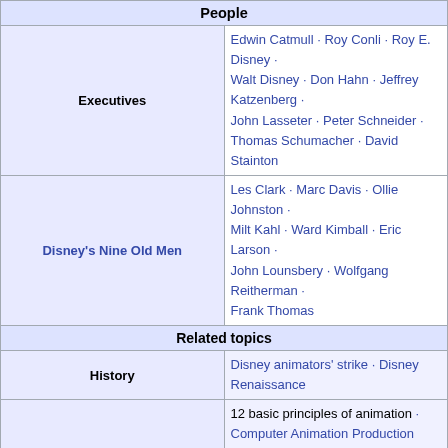People
| Category | Names |
| --- | --- |
| Executives | Edwin Catmull · Roy Conli · Roy E. Disney · Walt Disney · Don Hahn · Jeffrey Katzenberg · John Lasseter · Peter Schneider · Thomas Schumacher · David Stainton |
| Disney's Nine Old Men | Les Clark · Marc Davis · Ollie Johnston · Milt Kahl · Ward Kimball · Eric Larson · John Lounsbery · Wolfgang Reitherman · Frank Thomas |
Related topics
| Category | Content |
| --- | --- |
| History | Disney animators' strike · Disney Renaissance |
| Methods and technologies | 12 basic principles of animation · Computer Animation Production System · Disney Animation: The Illusion of Life · Multiplane camera |
| Documentaries | Frank and Ollie (1995) · The Sweatbox (2001) · Dream On Silly Dreamer (2005) · Waking Sleeping Beauty (2009) |
| Other Disney animation units | Disney Television Animation · DisneyToon Studios (Unit of WDAS) · Lucasfilm Animation · Marvel Animation · Pixar Animation Studios · Circle 7 (defunct) |